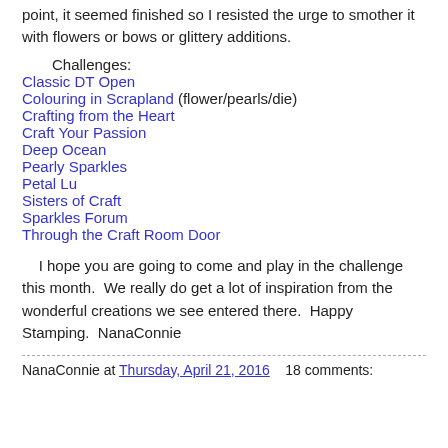point, it seemed finished so I resisted the urge to smother it with flowers or bows or glittery additions.
Challenges:
Classic DT Open
Colouring in Scrapland (flower/pearls/die)
Crafting from the Heart
Craft Your Passion
Deep Ocean
Pearly Sparkles
Petal Lu
Sisters of Craft
Sparkles Forum
Through the Craft Room Door
I hope you are going to come and play in the challenge this month.  We really do get a lot of inspiration from the wonderful creations we see entered there.  Happy Stamping.  NanaConnie
NanaConnie at Thursday, April 21, 2016    18 comments: